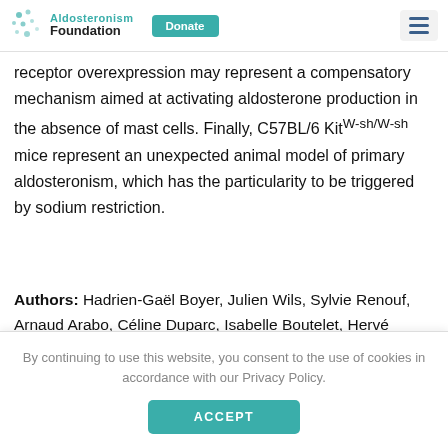Aldosteronism Foundation | Donate
receptor overexpression may represent a compensatory mechanism aimed at activating aldosterone production in the absence of mast cells. Finally, C57BL/6 Kitᵂ⁻ˢʰ/ᵂ⁻ˢʰ mice represent an unexpected animal model of primary aldosteronism, which has the particularity to be triggered by sodium restriction.
Authors: Hadrien-Gaël Boyer, Julien Wils, Sylvie Renouf, Arnaud Arabo, Céline Duparc, Isabelle Boutelet, Hervé Lefebvre, Estelle Louiset
By continuing to use this website, you consent to the use of cookies in accordance with our Privacy Policy.
ACCEPT